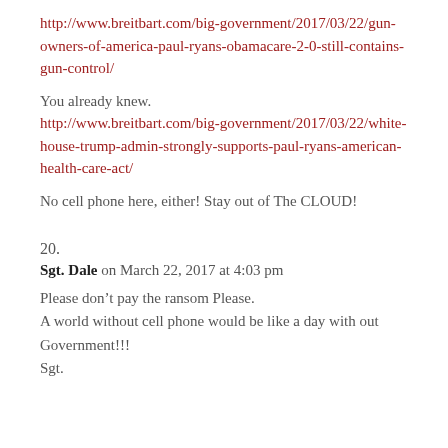http://www.breitbart.com/big-government/2017/03/22/gun-owners-of-america-paul-ryans-obamacare-2-0-still-contains-gun-control/
You already knew.
http://www.breitbart.com/big-government/2017/03/22/white-house-trump-admin-strongly-supports-paul-ryans-american-health-care-act/
No cell phone here, either! Stay out of The CLOUD!
20.
Sgt. Dale on March 22, 2017 at 4:03 pm
Please don’t pay the ransom Please.
A world without cell phone would be like a day with out Government!!!
Sgt.